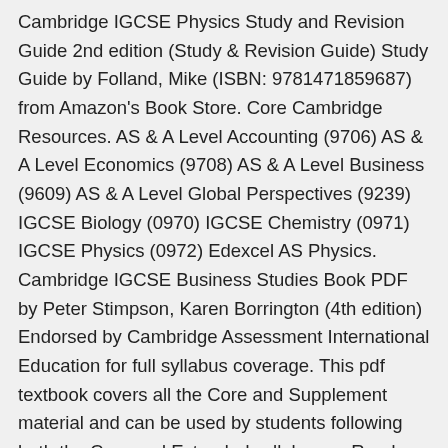Cambridge IGCSE Physics Study and Revision Guide 2nd edition (Study & Revision Guide) Study Guide by Folland, Mike (ISBN: 9781471859687) from Amazon's Book Store. Core Cambridge Resources. AS & A Level Accounting (9706) AS & A Level Economics (9708) AS & A Level Business (9609) AS & A Level Global Perspectives (9239) IGCSE Biology (0970) IGCSE Chemistry (0971) IGCSE Physics (0972) Edexcel AS Physics. Cambridge IGCSE Business Studies Book PDF by Peter Stimpson, Karen Borrington (4th edition) Endorsed by Cambridge Assessment International Education for full syllabus coverage. This pdf textbook covers all the Core and Supplement material and can be used by students following both the Core and Extended syllabuses. Read Cambridge IGCSE Physics Study and Revision Guide 2nd edition (Study & Revision Guide) book reviews & author details and more at Amazon.in. Free CIE IGCSE Physics revision notes created by teachers for the 9-1 (0972) / A*-G (0625) syllabus. ... Cambridge IGCSE Physics Workbook 2nd Edition... Share your thoughts Complete your review. Title: Cambridge IGCSE Physics Study and